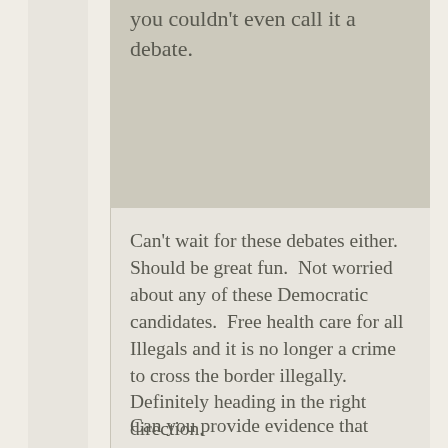you couldn't even call it a debate.
Can't wait for these debates either.  Should be great fun.  Not worried about any of these Democratic candidates.  Free health care for all Illegals and it is no longer a crime to cross the border illegally.  Definitely heading in the right direction.
Can you provide evidence that